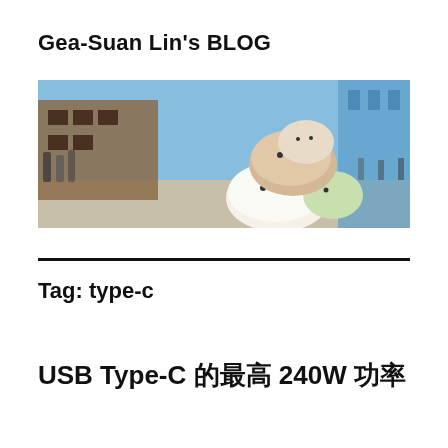Gea-Suan Lin's BLOG
[Figure (photo): Outdoor scene with large Sumikko Gurashi plush toys stacked on a street, people and buildings in background on a sunny day.]
Tag: type-c
USB Type-C 的最高 240W 功率